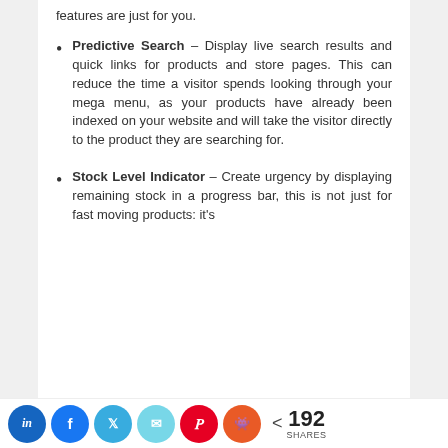features are just for you.
Predictive Search – Display live search results and quick links for products and store pages. This can reduce the time a visitor spends looking through your mega menu, as your products have already been indexed on your website and will take the visitor directly to the product they are searching for.
Stock Level Indicator – Create urgency by displaying remaining stock in a progress bar, this is not just for fast moving products: it's
< 192 SHARES [LinkedIn] [Facebook] [Twitter] [Email] [Pinterest] [Reddit]